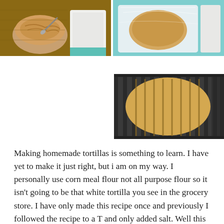[Figure (photo): Photo of tortilla dough in a bowl with a spoon and a white cutting board on a wooden surface]
[Figure (photo): Photo of tortilla dough flattened on a white cutting board with plastic wrap, on a teal surface]
[Figure (photo): Photo of a raw flattened tortilla made from corn meal flour on a dark ridged grill pan]
Making homemade tortillas is something to learn. I have yet to make it just right, but i am on my way. I personally use corn meal flour not all purpose flour so it isn't going to be that white tortilla you see in the grocery store. I have only made this recipe once and previously I followed the recipe to a T and only added salt. Well this time I went in with some extra seasons